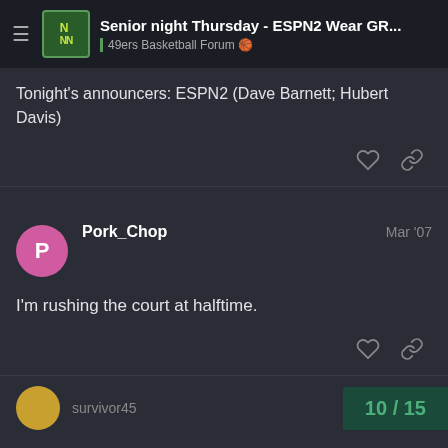Senior night Thursday - ESPN2 Wear GR... | 49ers Basketball Forum
Tonight's announcers: ESPN2 (Dave Barnett; Hubert Davis)
Pork_Chop  Mar '07
I'm rushing the court at halftime.
survivor45